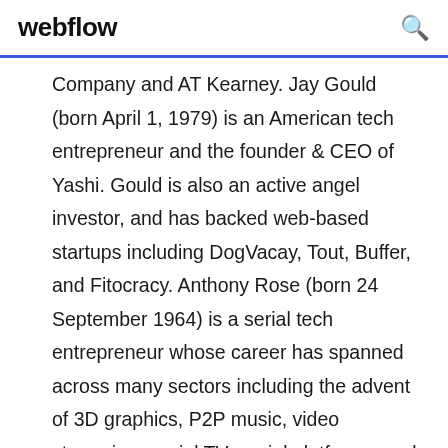webflow
Company and AT Kearney. Jay Gould (born April 1, 1979) is an American tech entrepreneur and the founder & CEO of Yashi. Gould is also an active angel investor, and has backed web-based startups including DogVacay, Tout, Buffer, and Fitocracy. Anthony Rose (born 24 September 1964) is a serial tech entrepreneur whose career has spanned across many sectors including the advent of 3D graphics, P2P music, video streaming, social TV, social platforms, and most recently, legal... See the latest Nitro Press Coverage and News. Business Plans THAT WORK A Guide for Small Business This page intentionally left blank. Business Plans THAT WORK A